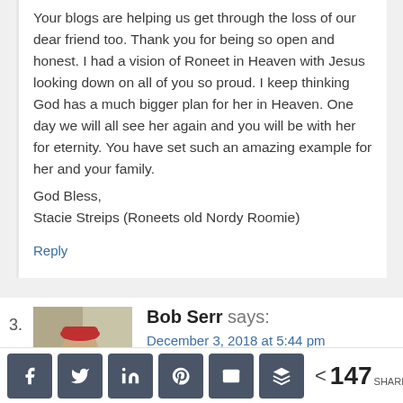Your blogs are helping us get through the loss of our dear friend too. Thank you for being so open and honest. I had a vision of Roneet in Heaven with Jesus looking down on all of you so proud. I keep thinking God has a much bigger plan for her in Heaven. One day we will all see her again and you will be with her for eternity. You have set such an amazing example for her and your family.
God Bless,
Stacie Streips (Roneets old Nordy Roomie)
Reply
3. Bob Serr says:
December 3, 2018 at 5:44 pm
[Figure (photo): Avatar photo of Bob Serr, a person wearing a red hat, outdoor setting]
< 147 SHARES